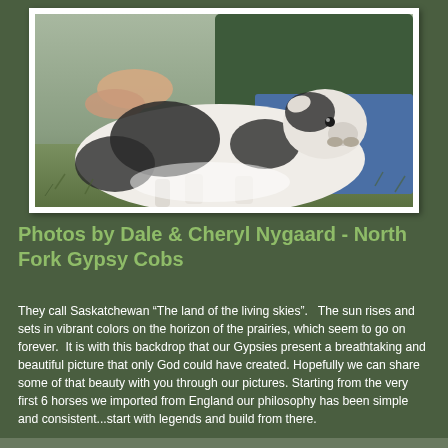[Figure (photo): A person sitting on grass with a black and white calf lying in their lap, outdoors in a field setting.]
Photos by Dale & Cheryl Nygaard - North Fork Gypsy Cobs
They call Saskatchewan “The land of the living skies”.   The sun rises and sets in vibrant colors on the horizon of the prairies, which seem to go on forever.  It is with this backdrop that our Gypsies present a breathtaking and beautiful picture that only God could have created. Hopefully we can share some of that beauty with you through our pictures. Starting from the very first 6 horses we imported from England our philosophy has been simple and consistent...start with legends and build from there.